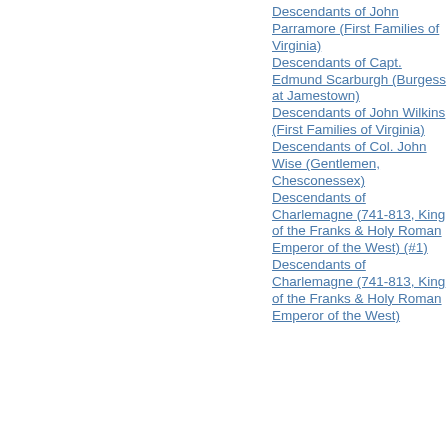Descendants of John Parramore (First Families of Virginia)
Descendants of Capt. Edmund Scarburgh (Burgess at Jamestown)
Descendants of John Wilkins (First Families of Virginia)
Descendants of Col. John Wise (Gentlemen, Chesconessex)
Descendants of Charlemagne (741-813, King of the Franks & Holy Roman Emperor of the West) (#1)
Descendants of Charlemagne (741-813, King of the Franks & Holy Roman Emperor of the West)